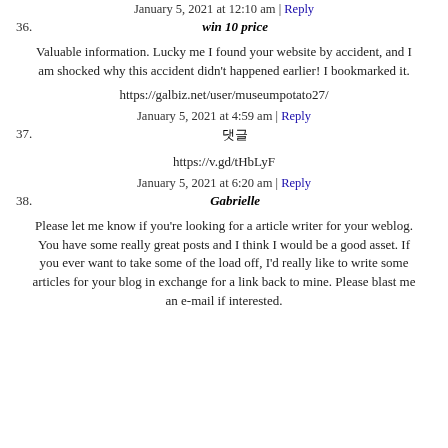January 5, 2021 at 12:10 am | Reply
36. win 10 price
Valuable information. Lucky me I found your website by accident, and I am shocked why this accident didn't happened earlier! I bookmarked it.
https://galbiz.net/user/museumpotato27/
January 5, 2021 at 4:59 am | Reply
37. 댓글
https://v.gd/tHbLyF
January 5, 2021 at 6:20 am | Reply
38. Gabrielle
Please let me know if you're looking for a article writer for your weblog. You have some really great posts and I think I would be a good asset. If you ever want to take some of the load off, I'd really like to write some articles for your blog in exchange for a link back to mine. Please blast me an e-mail if interested.